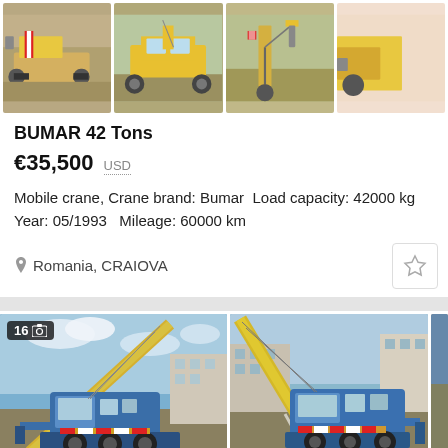[Figure (photo): Row of four thumbnail photos of a Bumar mobile crane, yellow, viewed from different angles]
BUMAR 42 Tons
€35,500  USD
Mobile crane, Crane brand: Bumar  Load capacity: 42000 kg Year: 05/1993   Mileage: 60000 km
Romania, CRAIOVA
[Figure (photo): Two large photos of the Bumar mobile crane (blue cab, yellow boom), front-left and front-right views, with photo count badge '16' on first image]